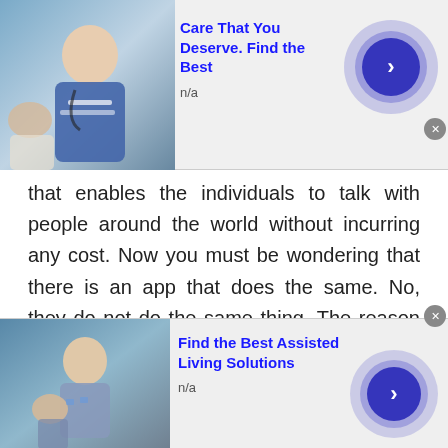[Figure (photo): Top advertisement banner: Care That You Deserve. Find the Best, with photo of medical professional]
Care That You Deserve. Find the Best
n/a
that enables the individuals to talk with people around the world without incurring any cost. Now you must be wondering that there is an app that does the same. No, they do not do the same thing. The reason being, on those applications you can only communicate with the people with whom you have a connection. You might know them by any reference, or you might know them directly. However, if you wish to talk to a stranger through those platforms, say you want to video chat with random people,
[Figure (photo): Bottom advertisement banner: Find the Best Assisted Living Solutions, with photo of elderly care]
Find the Best Assisted Living Solutions
n/a